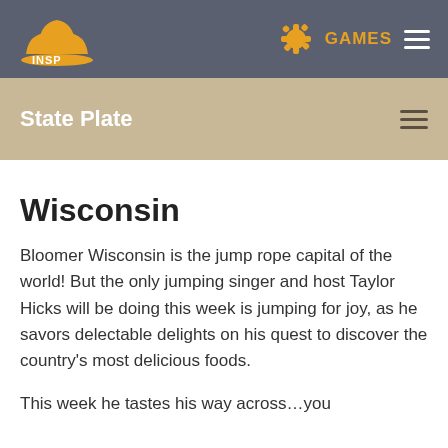INSP  GAMES
State Plate
Wisconsin
Bloomer Wisconsin is the jump rope capital of the world! But the only jumping singer and host Taylor Hicks will be doing this week is jumping for joy, as he savors delectable delights on his quest to discover the country's most delicious foods.
This week he tastes his way across…you